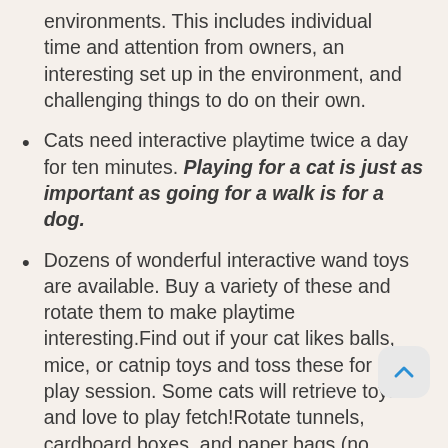environments. This includes individual time and attention from owners, an interesting set up in the environment, and challenging things to do on their own.
Cats need interactive playtime twice a day for ten minutes. Playing for a cat is just as important as going for a walk is for a dog.
Dozens of wonderful interactive wand toys are available. Buy a variety of these and rotate them to make playtime interesting.Find out if your cat likes balls, mice, or catnip toys and toss these for a fun play session. Some cats will retrieve toys and love to play fetch!Rotate tunnels, cardboard boxes, and paper bags (no handles) to make playtime even more interesting.
Enrich your cat's environment by adding